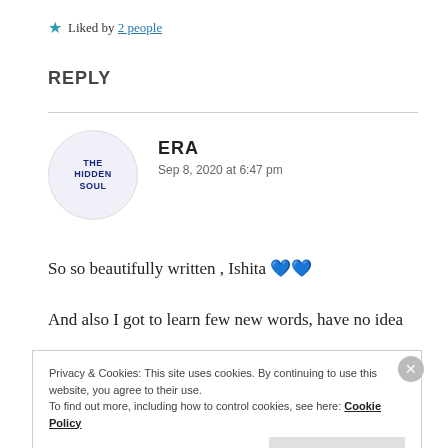★ Liked by 2 people
REPLY
ERA
Sep 8, 2020 at 6:47 pm
So so beautifully written , Ishita 💙💙
And also I got to learn few new words, have no idea
Privacy & Cookies: This site uses cookies. By continuing to use this website, you agree to their use.
To find out more, including how to control cookies, see here: Cookie Policy
Close and accept